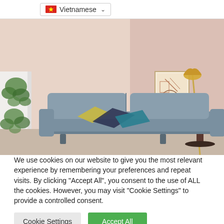Vietnamese
[Figure (photo): Interior room scene with a blue-grey leather sofa, colorful cushions, hanging potted plants on a white partition, a framed artwork print, and a gold floor lamp. The walls are painted in soft pink/blush tones.]
We use cookies on our website to give you the most relevant experience by remembering your preferences and repeat visits. By clicking "Accept All", you consent to the use of ALL the cookies. However, you may visit "Cookie Settings" to provide a controlled consent.
Cookie Settings | Accept All